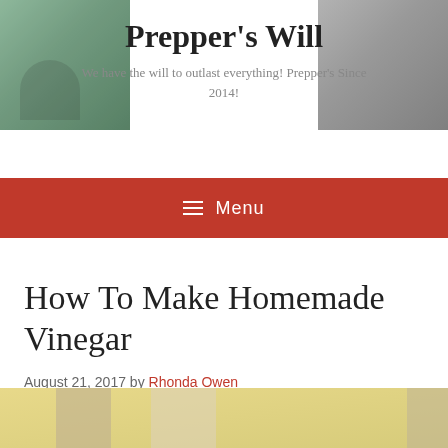Prepper's Will
We have the will to outlast everything! Prepper's Since 2014!
☰ Menu
How To Make Homemade Vinegar
August 21, 2017 by Rhonda Owen
[Figure (photo): Jars of homemade vinegar on a yellow-green background]